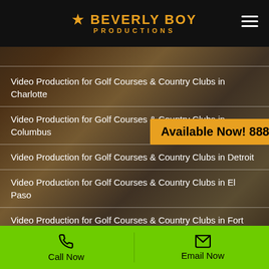Beverly Boy Productions
Available Now! 888-462-7808
Video Production for Golf Courses & Country Clubs in Charlotte
Video Production for Golf Courses & Country Clubs in Columbus
Video Production for Golf Courses & Country Clubs in Detroit
Video Production for Golf Courses & Country Clubs in El Paso
Video Production for Golf Courses & Country Clubs in Fort Worth
Video Production for Golf Courses & Country Clubs in Indianapolis
Call Now  |  Email Now